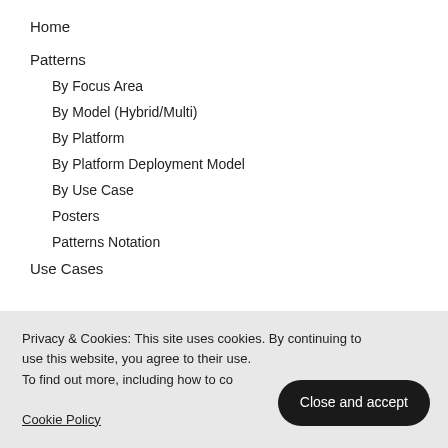Home
Patterns
By Focus Area
By Model (Hybrid/Multi)
By Platform
By Platform Deployment Model
By Use Case
Posters
Patterns Notation
Use Cases
Privacy & Cookies: This site uses cookies. By continuing to use this website, you agree to their use. To find out more, including how to control cookies, see here: Cookie Policy
Close and accept